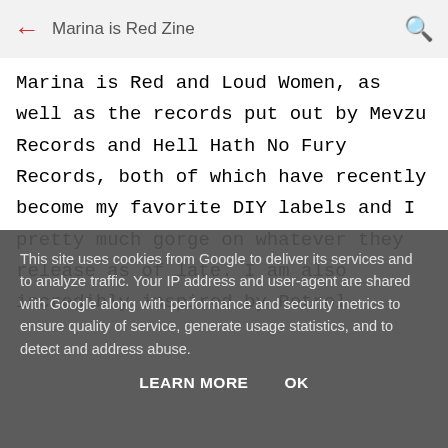Marina is Red Zine
Marina is Red and Loud Women, as well as the records put out by Mevzu Records and Hell Hath No Fury Records, both of which have recently become my favorite DIY labels and I pretty much gorge on whatever they release as of late. I am also incredibly inspired by Petrol
This site uses cookies from Google to deliver its services and to analyze traffic. Your IP address and user-agent are shared with Google along with performance and security metrics to ensure quality of service, generate usage statistics, and to detect and address abuse.
LEARN MORE   OK